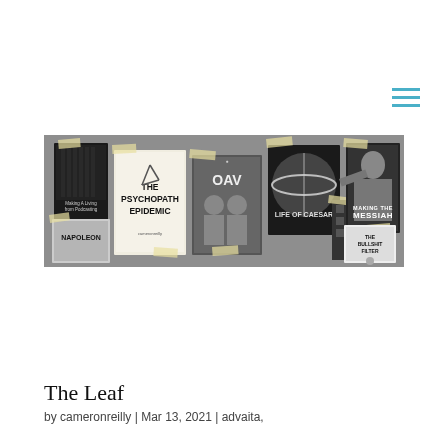[Figure (illustration): Hamburger menu icon with three horizontal teal/cyan lines in the top-right area of the page]
[Figure (photo): A collage banner image showing multiple book and podcast covers in black and white on a textured grey background. Books/covers visible include: 'Making a Living from Podcasting', 'Napoleon', 'The Psychopath Epidemic', 'OAV' (two men posing), 'Life of Caesar', 'Making the Messiah', and 'The Bullshit Filter'. Covers are arranged with tape-like decorative elements.]
The Leaf
by cameronreilly | Mar 13, 2021 | advaita,